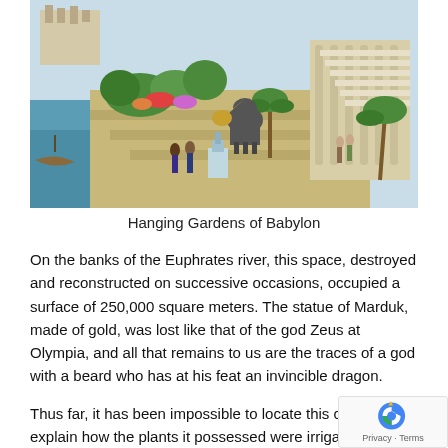[Figure (illustration): Colorful artistic illustration of the Hanging Gardens of Babylon, showing terraced gardens with lush greenery, palm trees, elephants, mythical creatures, grand staircases, colonnaded architecture, and a river scene in the background.]
Hanging Gardens of Babylon
On the banks of the Euphrates river, this space, destroyed and reconstructed on successive occasions, occupied a surface of 250,000 square meters. The statue of Marduk, made of gold, was lost like that of the god Zeus at Olympia, and all that remains to us are the traces of a god with a beard who has at his feat an invincible dragon.
Thus far, it has been impossible to locate this comp explain how the plants it possessed were irrigated. It is